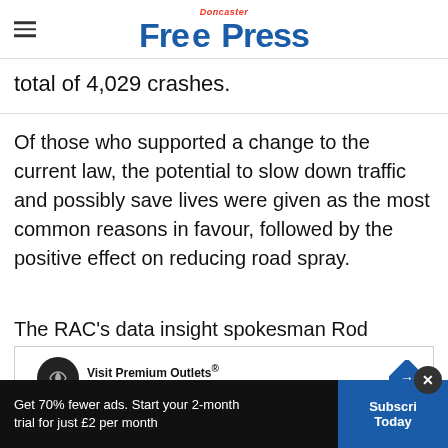Doncaster Free Press
total of 4,029 crashes.
Of those who supported a change to the current law, the potential to slow down traffic and possibly save lives were given as the most common reasons in favour, followed by the positive effect on reducing road spray.
The RAC's data insight spokesman Rod Dennis said a
warned that it might not be straightforward
[Figure (screenshot): Advertisement banner: Visit Premium Outlets - Leesburg Premium Outlets, with circular logo and blue diamond road sign icon]
Get 70% fewer ads. Start your 2-month trial for just £2 per month   Subscribe Today